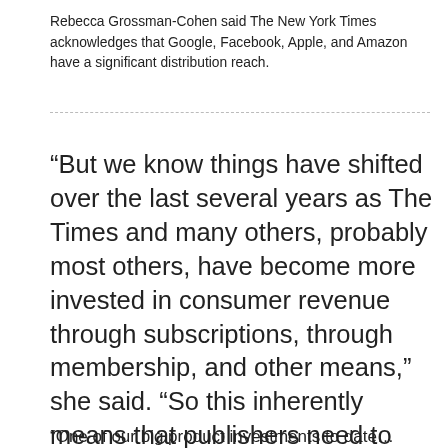Rebecca Grossman-Cohen said The New York Times acknowledges that Google, Facebook, Apple, and Amazon have a significant distribution reach.
“But we know things have shifted over the last several years as The Times and many others, probably most others, have become more invested in consumer revenue through subscriptions, through membership, and other means,” she said. “So this inherently means that publishers need to have a known and understood brand and product and value; that we need to form direct relationships with readers, viewers and listeners; and that we need to be able to transact easily and quickly…”
[Figure (screenshot): Cookie consent banner overlay on the page with blue background. Text reads: 'By continuing to browse or by clicking “ACCEPT,” you agree to the storing of cookies on your device to enhance your site experience. To learn more about how we use cookies, please see our privacy policy.' with an 'I ACCEPT' button on the right and an X close button.]
Fox News, Google, Facebook, and Amazon expressed strong desires on the part of their respective tech companies to work with publishers on these issues a…
“One of our big product investments to date…